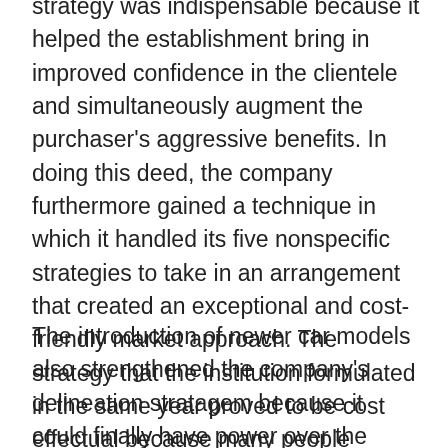strategy was indispensable because it helped the establishment bring in improved confidence in the clientele and simultaneously augment the purchaser's aggressive benefits. In doing this deed, the company furthermore gained a technique in which it handled its five nonspecific strategies to take in an arrangement that created an exceptional and cost-friendly market approach. The strategy that the institution formulated in the same year proved to be cost effectual because many people looked for ways and means that they could acquire a motor vehicle from the company at a reduced charge than in the other companies (Hill and Jones 106).
The introduction of newer car models also strengthened the company's delineation stratagem because it could finally have power over the consumers' point of view on [Learn the cost of your essay →] ones 97). This was pertinent because many people started buying vehicles